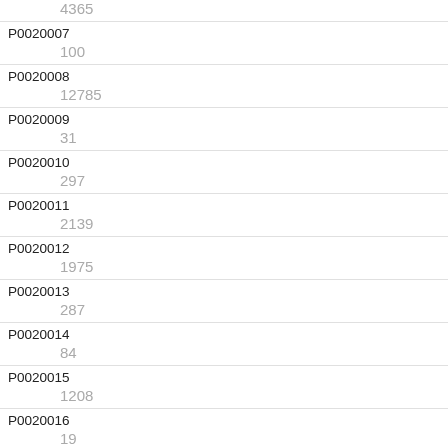| ID | Value |
| --- | --- |
| (partial top) | 4365 |
| P0020007 | 100 |
| P0020008 | 12785 |
| P0020009 | 31 |
| P0020010 | 297 |
| P0020011 | 2139 |
| P0020012 | 1975 |
| P0020013 | 287 |
| P0020014 | 84 |
| P0020015 | 1208 |
| P0020016 | 19 |